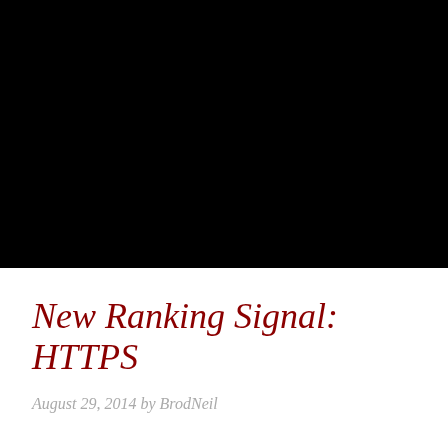[Figure (photo): Black image area occupying the top portion of the page]
New Ranking Signal: HTTPS
August 29, 2014 by BrodNeil